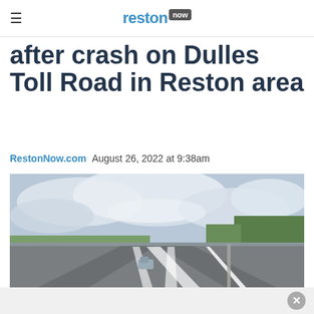reston now
after crash on Dulles Toll Road in Reston area
RestonNow.com  August 26, 2022 at 9:38am
[Figure (photo): Aerial view of the Dulles Toll Road, a multi-lane highway with a truck visible in the center lanes, trees on the right side, and cloudy sky overhead.]
One lane closed, another reopened...